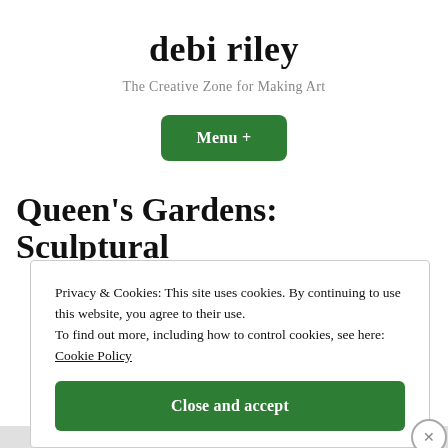debi riley
The Creative Zone for Making Art
Menu +
Queen’s Gardens: Sculptural
Privacy & Cookies: This site uses cookies. By continuing to use this website, you agree to their use.
To find out more, including how to control cookies, see here: Cookie Policy
Close and accept